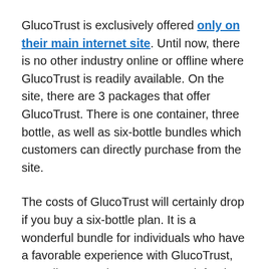GlucoTrust is exclusively offered only on their main internet site. Until now, there is no other industry online or offline where GlucoTrust is readily available. On the site, there are 3 packages that offer GlucoTrust. There is one container, three bottle, as well as six-bottle bundles which customers can directly purchase from the site.
The costs of GlucoTrust will certainly drop if you buy a six-bottle plan. It is a wonderful bundle for individuals who have a favorable experience with GlucoTrust, as well as now they want to use it for the long term. Furthermore, GlucoTrust offers complimentary shipping besides one bottle bundle, as well as you can get the item shipped throughout the United States.